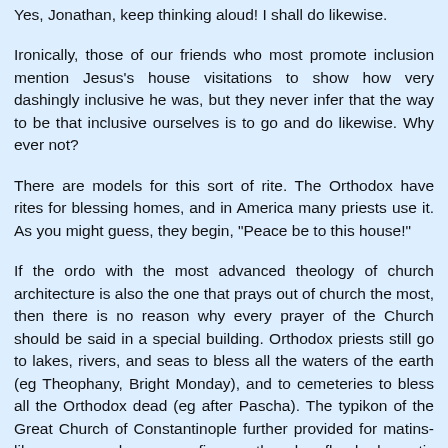Yes, Jonathan, keep thinking aloud! I shall do likewise.
Ironically, those of our friends who most promote inclusion mention Jesus's house visitations to show how very dashingly inclusive he was, but they never infer that the way to be that inclusive ourselves is to go and do likewise. Why ever not?
There are models for this sort of rite. The Orthodox have rites for blessing homes, and in America many priests use it. As you might guess, they begin, "Peace be to this house!"
If the ordo with the most advanced theology of church architecture is also the one that prays out of church the most, then there is no reason why every prayer of the Church should be said in a special building. Orthodox priests still go to lakes, rivers, and seas to bless all the waters of the earth (eg Theophany, Bright Monday), and to cemeteries to bless all the Orthodox dead (eg after Pascha). The typikon of the Great Church of Constantinople further provided for matins-like prayers where ever fire, earthquake, flood, domestic tragedy, etc